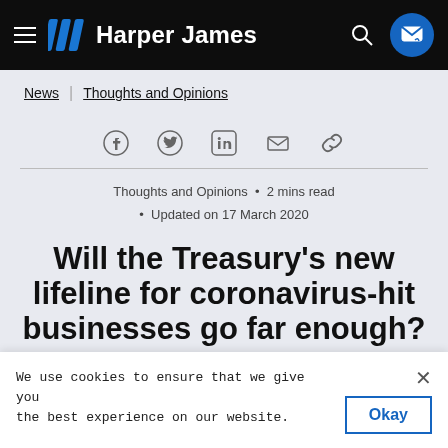Harper James
News | Thoughts and Opinions
Thoughts and Opinions • 2 mins read • Updated on 17 March 2020
Will the Treasury's new lifeline for coronavirus-hit businesses go far enough?
We use cookies to ensure that we give you the best experience on our website.
Toby Harper
Founder & CEO